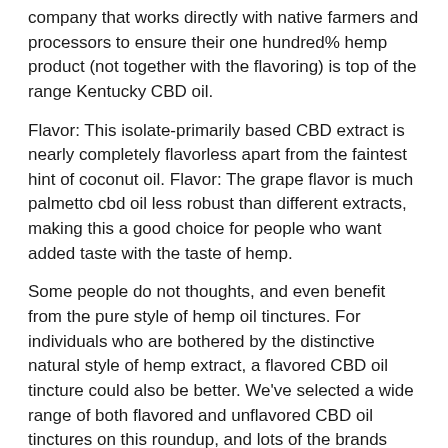company that works directly with native farmers and processors to ensure their one hundred% hemp product (not together with the flavoring) is top of the range Kentucky CBD oil.
Flavor: This isolate-primarily based CBD extract is nearly completely flavorless apart from the faintest hint of coconut oil. Flavor: The grape flavor is much palmetto cbd oil less robust than different extracts, making this a good choice for people who want added taste with the taste of hemp.
Some people do not thoughts, and even benefit from the pure style of hemp oil tinctures. For individuals who are bothered by the distinctive natural style of hemp extract, a flavored CBD oil tincture could also be better. We've selected a wide range of both flavored and unflavored CBD oil tinctures on this roundup, and lots of the brands chosen supply a number of options. Should you still cannot stand the flavour of CBD tincture, contemplate an alternative choice like CBD gummies or capsules. Topical CBD is another in style choice, particularly if you happen to're treating body aches or certain skin problems.
It's fairly protected to say that any CBD consumer would trust this model together with their products. And although there are a few disadvantages with regards palmetto harmony to the transparency